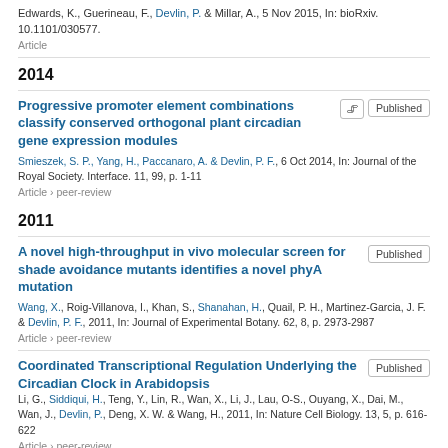Edwards, K., Guerineau, F., Devlin, P. & Millar, A., 5 Nov 2015, In: bioRxiv. 10.1101/030577.
Article
2014
Progressive promoter element combinations classify conserved orthogonal plant circadian gene expression modules
Smieszek, S. P., Yang, H., Paccanaro, A. & Devlin, P. F., 6 Oct 2014, In: Journal of the Royal Society. Interface. 11, 99, p. 1-11
Article › peer-review
2011
A novel high-throughput in vivo molecular screen for shade avoidance mutants identifies a novel phyA mutation
Wang, X., Roig-Villanova, I., Khan, S., Shanahan, H., Quail, P. H., Martinez-Garcia, J. F. & Devlin, P. F., 2011, In: Journal of Experimental Botany. 62, 8, p. 2973-2987
Article › peer-review
Coordinated Transcriptional Regulation Underlying the Circadian Clock in Arabidopsis
Li, G., Siddiqui, H., Teng, Y., Lin, R., Wan, X., Li, J., Lau, O-S., Ouyang, X., Dai, M., Wan, J., Devlin, P., Deng, X. W. & Wang, H., 2011, In: Nature Cell Biology. 13, 5, p. 616-622
Article › peer-review